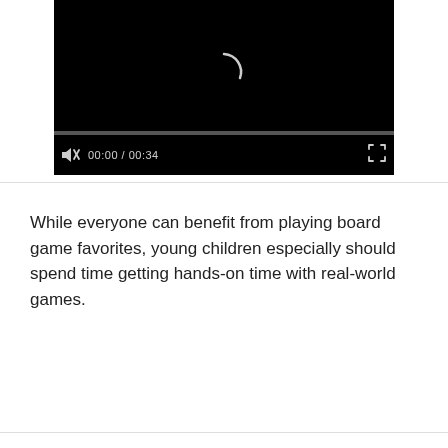[Figure (screenshot): Video player showing a black screen with a loading spinner icon in the center. Below the video area is a progress bar (fully gray, at 0:00) and a controls bar with a muted speaker icon, timestamp '00:00 / 00:34', and a fullscreen button.]
While everyone can benefit from playing board game favorites, young children especially should spend time getting hands-on time with real-world games.